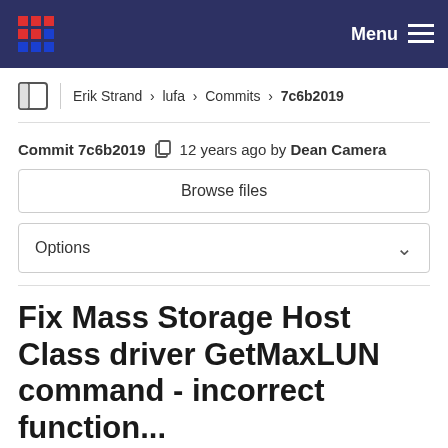Menu
Erik Strand > lufa > Commits > 7c6b2019
Commit 7c6b2019  12 years ago by Dean Camera
Browse files
Options
Fix Mass Storage Host Class driver GetMaxLUN command - incorrect function...
Fix Mass Storage Host Class driver GetMaxLUN command
Add HID Host Class driver functions to set the repor